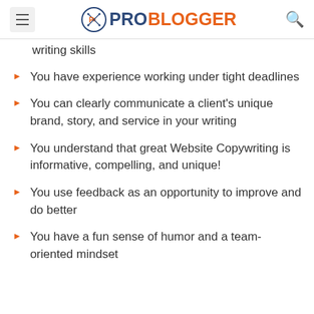ProBlogger
writing skills
You have experience working under tight deadlines
You can clearly communicate a client's unique brand, story, and service in your writing
You understand that great Website Copywriting is informative, compelling, and unique!
You use feedback as an opportunity to improve and do better
You have a fun sense of humor and a team-oriented mindset